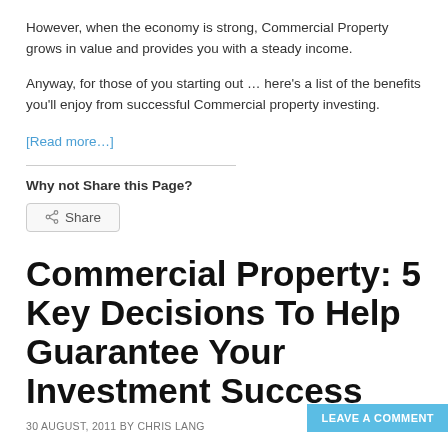However, when the economy is strong, Commercial Property grows in value and provides you with a steady income.
Anyway, for those of you starting out … here's a list of the benefits you'll enjoy from successful Commercial property investing.
[Read more…]
Why not Share this Page?
Share
Commercial Property: 5 Key Decisions To Help Guarantee Your Investment Success
30 AUGUST, 2011 BY CHRIS LANG
LEAVE A COMMENT